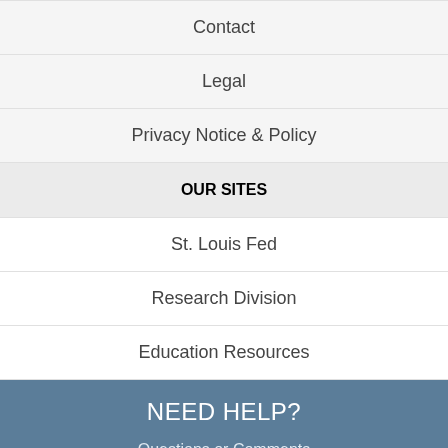Contact
Legal
Privacy Notice & Policy
OUR SITES
St. Louis Fed
Research Division
Education Resources
NEED HELP?
Questions or Comments
FRED Help
SUBSCRIBE TO THE FRED NEWSLETTER
Email / Subscribe